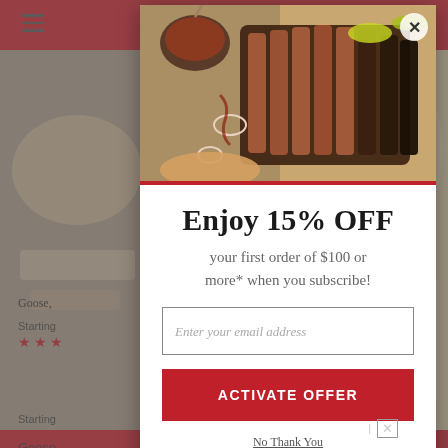[Figure (screenshot): Background of a food product website with red header bar, hamburger menu, cart icon, product images on left and right sides, 'Goose...' product title, 'Starting...' text, and star ratings]
[Figure (photo): Food photo showing sliced BBQ brisket on a wooden cutting board with sauce, onion rings, and pickled peppers]
Enjoy 15% OFF
your first order of $100 or more* when you subscribe!
Enter your email address
ACTIVATE OFFER
No Thank You